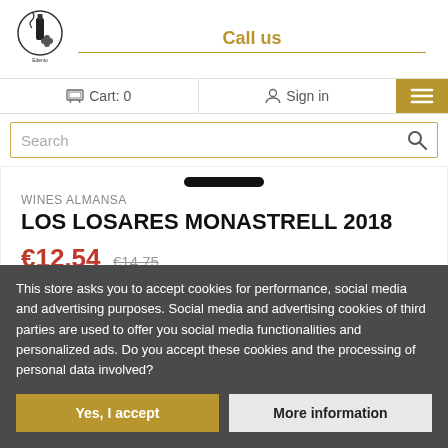[Figure (logo): Wine shop logo with bottle and corkscrew illustration]
Call us
🛒 Cart: 0
Sign in
Search
[Figure (photo): Bottom of a wine bottle neck visible at top]
WINES ALMANSA
LOS LOSARES MONASTRELL 2018
€12.54 €14.75
This store asks you to accept cookies for performance, social media and advertising purposes. Social media and advertising cookies of third parties are used to offer you social media functionalities and personalized ads. Do you accept these cookies and the processing of personal data involved?
Yes, I accept
More information